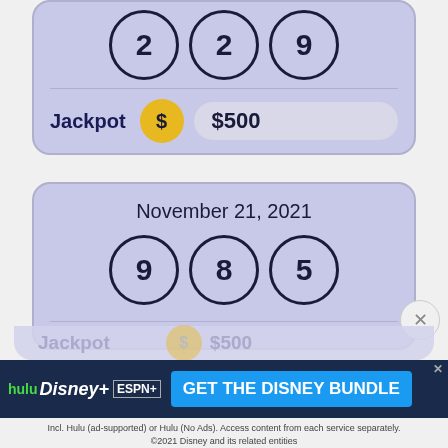[Figure (infographic): Lottery card (top, partial) showing three balls with numbers 2, 2, 9 and a Jackpot row showing a gold coin with dollar sign and $500 on a pill-shaped bar]
Jackpot   $500
[Figure (infographic): Lottery card for November 21, 2021 showing three balls with numbers 9, 8, 5]
November 21, 2021
Jackpot  $500
[Figure (screenshot): Disney Bundle advertisement banner: hulu Disney+ ESPN+ GET THE DISNEY BUNDLE. Fine print: Incl. Hulu (ad-supported) or Hulu (No Ads). Access content from each service separately. ©2021 Disney and its related entities]